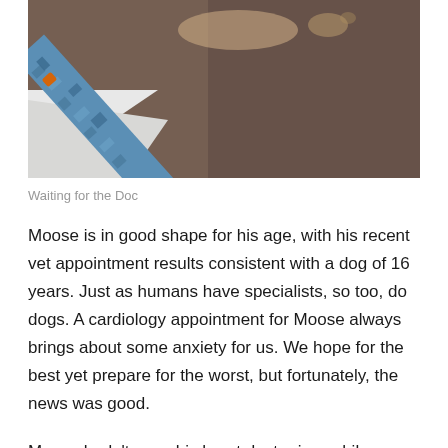[Figure (photo): Overhead view of a dog on a textured brown carpet, wearing a blue camouflage collar/leash, with a white garment/blanket visible in the lower left. The perspective suggests someone looking down at the dog from above.]
Waiting for the Doc
Moose is in good shape for his age, with his recent vet appointment results consistent with a dog of 16 years. Just as humans have specialists, so too, do dogs. A cardiology appointment for Moose always brings about some anxiety for us. We hope for the best yet prepare for the worst, but fortunately, the news was good.
Moose hadn't seen his heart doctor in a while, so we scheduled an appointment to check his degenerative